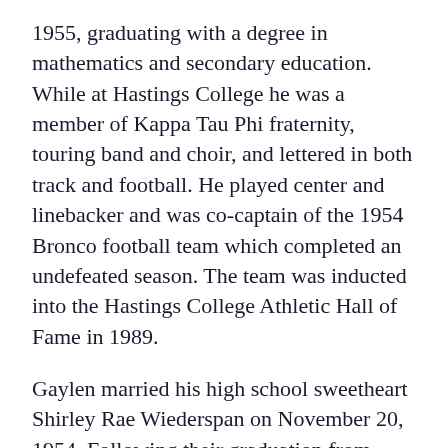1955, graduating with a degree in mathematics and secondary education. While at Hastings College he was a member of Kappa Tau Phi fraternity, touring band and choir, and lettered in both track and football. He played center and linebacker and was co-captain of the 1954 Bronco football team which completed an undefeated season. The team was inducted into the Hastings College Athletic Hall of Fame in 1989.
Gaylen married his high school sweetheart Shirley Rae Wiederspan on November 20, 1954. Following their graduation from Hastings College in 1955 he and Shirley taught in Superior, NE for one year. Subsequently, he received a commission in the U.S. Navy after attending Navy Officer Candidate